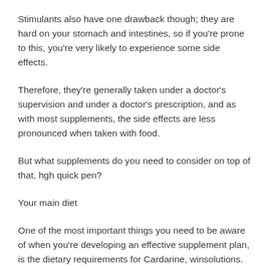Stimulants also have one drawback though; they are hard on your stomach and intestines, so if you're prone to this, you're very likely to experience some side effects.
Therefore, they're generally taken under a doctor's supervision and under a doctor's prescription, and as with most supplements, the side effects are less pronounced when taken with food.
But what supplements do you need to consider on top of that, hgh quick pen?
Your main diet
One of the most important things you need to be aware of when you're developing an effective supplement plan, is the dietary requirements for Cardarine, winsolutions.